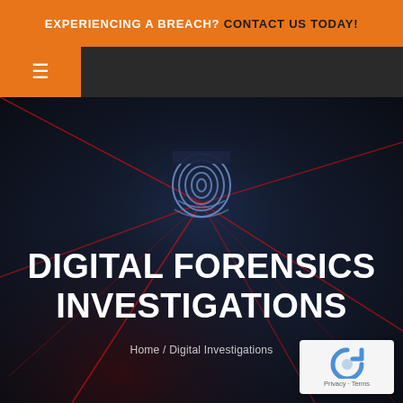EXPERIENCING A BREACH? CONTACT US TODAY!
[Figure (screenshot): Navigation bar with hamburger menu icon on orange background on the left and dark gray bar to the right]
[Figure (photo): Dark atmospheric hero image with a blue fingerprint icon in the center and red laser lines radiating outward on a dark navy/blue bokeh background]
DIGITAL FORENSICS INVESTIGATIONS
Home / Digital Investigations
[Figure (logo): reCAPTCHA badge with blue/gray circular arrow logo and Privacy - Terms text]